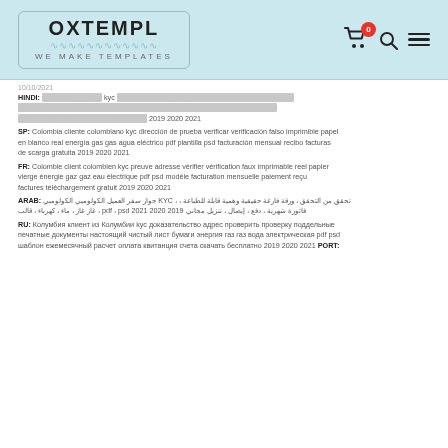OXTEMPL — WE MAKE TEMPLATES
10/10/2021
HINDI: [Hindi text] kyc [Hindi text] 2019 2020 2021
SP: Colombia cliente colombiano kyc dirección de prueba verificar verificación falso imprimible papel en blanco real energía gas gas agua eléctrico pdf plantilla psd facturación mensual recibo facturas de scarga gratuita 2019 2020 2021
FR: Colombie client colombien kyc preuve adresse vérifier vérification faux imprimable reel papier vierge énergie gaz gaz eau électrique pdf psd modèle facturation mensuelle paiement reçu factures téléchargement gratuit 2019 2020 2021
ARAB: تحقق من التحقق ، ورقة فارغة حقيقية وهمية قابلة للطباعة ، ، KYC جواز سفر العميل الكولومبي الكولومبي فاتورة شهرية ، دفع ، إيصال ، تنزيل مجاني 2019 2020 2021 pdf ، psd ، غاز غاز ، ماء ، كهرباء ، قالب
RU: Колумбия клиент из Колумбии kyc доказательство адрес проверить проверку поддельные печатные документы настоящий чистый лист бумаги энергия газ газ вода электрическая pdf psd шаблон ежемесячный расчет оплата квитанция счета скачать бесплатно 2019 2020 2021 PORT: